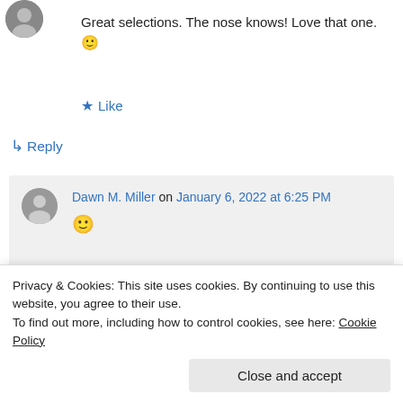[Figure (photo): Small circular avatar photo of a person, top-left corner]
Great selections. The nose knows! Love that one. 🙂
★ Like
↳ Reply
Dawn M. Miller on January 6, 2022 at 6:25 PM
🙂
Privacy & Cookies: This site uses cookies. By continuing to use this website, you agree to their use.
To find out more, including how to control cookies, see here: Cookie Policy
Close and accept